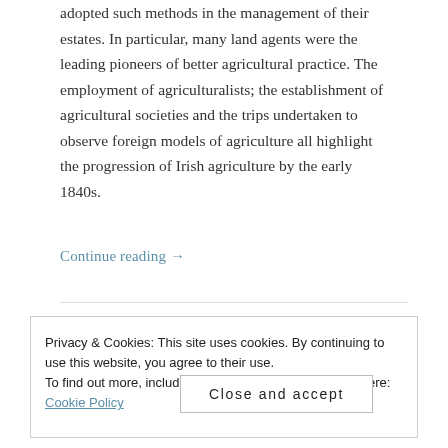adopted such methods in the management of their estates. In particular, many land agents were the leading pioneers of better agricultural practice. The employment of agriculturalists; the establishment of agricultural societies and the trips undertaken to observe foreign models of agriculture all highlight the progression of Irish agriculture by the early 1840s.
Continue reading →
Privacy & Cookies: This site uses cookies. By continuing to use this website, you agree to their use.
To find out more, including how to control cookies, see here: Cookie Policy
Close and accept